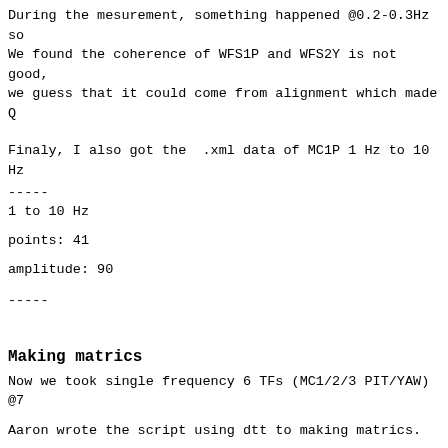During the mesurement, something happened @0.2-0.3Hz so
We found the coherence of WFS1P and WFS2Y is not good,
we guess that it could come from alignment which made Q
Finaly, I also got the  .xml data of MC1P 1 Hz to 10 Hz
-----
1 to 10 Hz
points: 41
amplitude: 90
-----
Making matrics
Now we took single frequency 6 TFs (MC1/2/3 PIT/YAW) @7
Aaron wrote the script using dtt to making matrics.